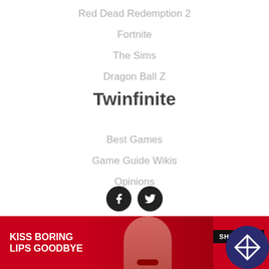Red Dead Redemption 2
Fortnite
The Sims
Dragon Ball Z
Twinfinite
Best Games
Game Guide Wikis
Opinions
[Figure (other): Social media icons: Facebook and Twitter circular black buttons]
Copyright © 2022 GAMURS Group
[Figure (other): Advertisement banner for Macy's lip product: KISS BORING LIPS GOODBYE with SHOP NOW button]